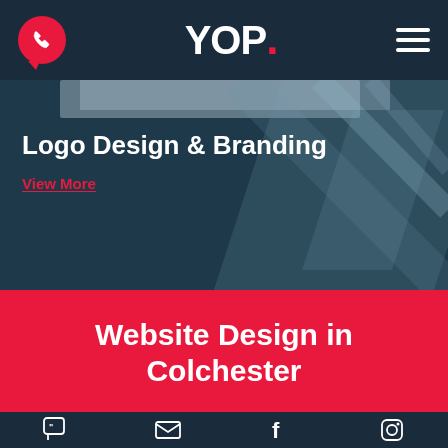[Figure (logo): YOP. logo in white on dark navy navbar with red phone icon on left and hamburger menu on right]
[Figure (photo): Dark teal/navy hero image with structural beams/architecture in background, showing 'Logo Design & Branding' heading and 'View More' red link]
Logo Design & Branding
View More
Website Design in Colchester
[Figure (illustration): Bottom navigation bar with chat/quote icon, email/envelope icon, Facebook icon, and Instagram icon on dark navy background]